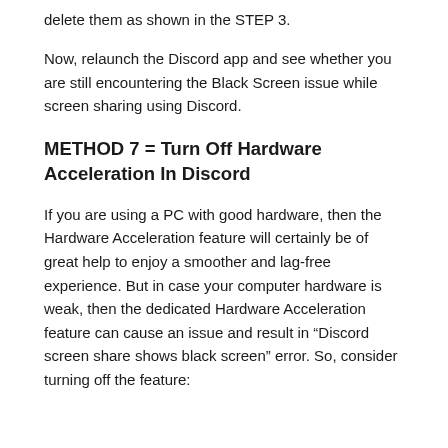delete them as shown in the STEP 3.
Now, relaunch the Discord app and see whether you are still encountering the Black Screen issue while screen sharing using Discord.
METHOD 7 = Turn Off Hardware Acceleration In Discord
If you are using a PC with good hardware, then the Hardware Acceleration feature will certainly be of great help to enjoy a smoother and lag-free experience. But in case your computer hardware is weak, then the dedicated Hardware Acceleration feature can cause an issue and result in “Discord screen share shows black screen” error. So, consider turning off the feature: